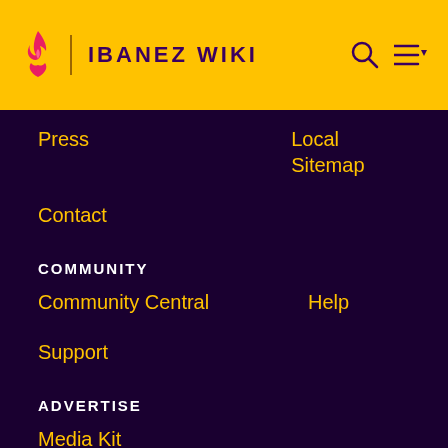IBANEZ WIKI
Press
Local Sitemap
Contact
COMMUNITY
Community Central
Help
Support
ADVERTISE
Media Kit
Fandomatic
Contact